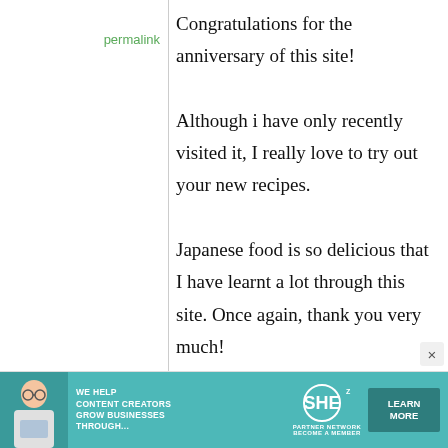permalink
Congratulations for the anniversary of this site! Although i have only recently visited it, I really love to try out your new recipes. Japanese food is so delicious that I have learnt a lot through this site. Once again, thank you very much!

Elaine, Australia
[Figure (infographic): Advertisement banner for SHE Partner Network: 'We help content creators grow businesses through...' with a Learn More button]